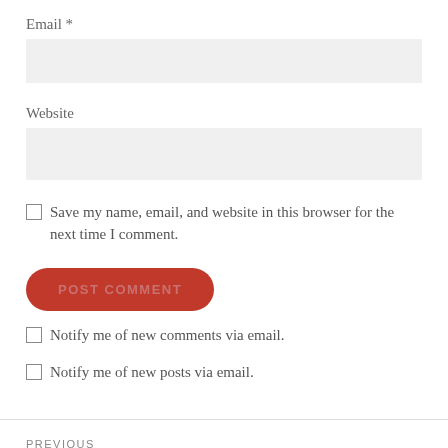Email *
[Figure (screenshot): Empty text input field for Email, light gray background]
Website
[Figure (screenshot): Empty text input field for Website, light gray background]
Save my name, email, and website in this browser for the next time I comment.
[Figure (screenshot): POST COMMENT button, red pill shape with uppercase text]
Notify me of new comments via email.
Notify me of new posts via email.
PREVIOUS